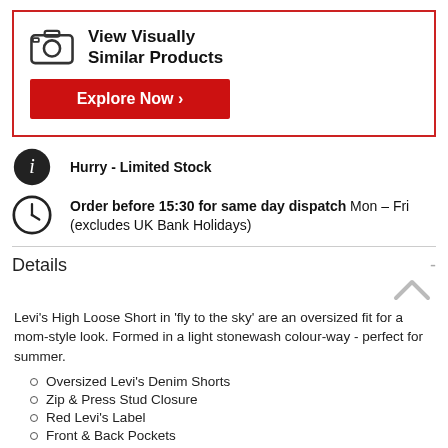[Figure (infographic): Camera icon with text 'View Visually Similar Products' and a red 'Explore Now ›' button inside a red-bordered box]
Hurry - Limited Stock
Order before 15:30 for same day dispatch Mon – Fri (excludes UK Bank Holidays)
Details
Levi's High Loose Short in 'fly to the sky' are an oversized fit for a mom-style look. Formed in a light stonewash colour-way - perfect for summer.
Oversized Levi's Denim Shorts
Zip & Press Stud Closure
Red Levi's Label
Front & Back Pockets
High Waisted